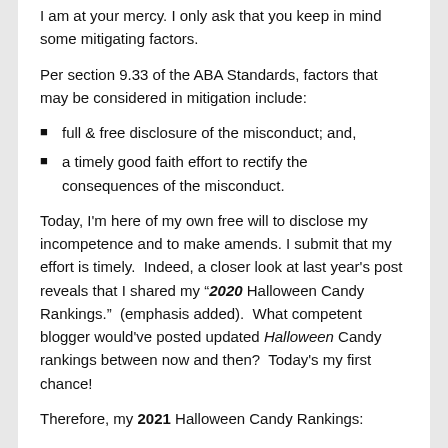I am at your mercy. I only ask that you keep in mind some mitigating factors.
Per section 9.33 of the ABA Standards, factors that may be considered in mitigation include:
full & free disclosure of the misconduct; and,
a timely good faith effort to rectify the consequences of the misconduct.
Today, I'm here of my own free will to disclose my incompetence and to make amends. I submit that my effort is timely.  Indeed, a closer look at last year's post reveals that I shared my "2020 Halloween Candy Rankings."  (emphasis added).  What competent blogger would've posted updated Halloween Candy rankings between now and then?  Today's my first chance!
Therefore, my 2021 Halloween Candy Rankings:
5.  Krackel
4.  Peanut Butter Cup